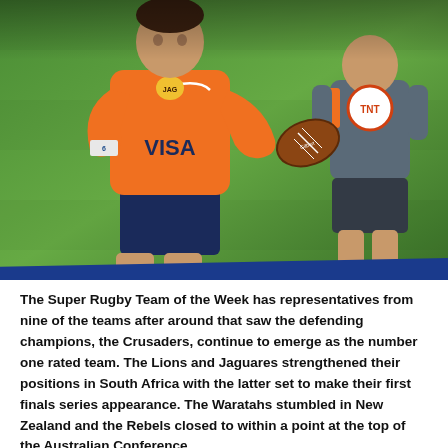[Figure (photo): Rugby player in orange Jaguares jersey with VISA sponsor, running with ball during Super Rugby match against opponent in blue/grey kit with TNT logo]
The Super Rugby Team of the Week has representatives from nine of the teams after around that saw the defending champions, the Crusaders, continue to emerge as the number one rated team. The Lions and Jaguares strengthened their positions in South Africa with the latter set to make their first finals series appearance. The Waratahs stumbled in New Zealand and the Rebels closed to within a point at the top of the Australian Conference.
Jaguares wing Ramiro Moyano was instrumental in his team's victory over the Sharks in Buenos Aires. He made